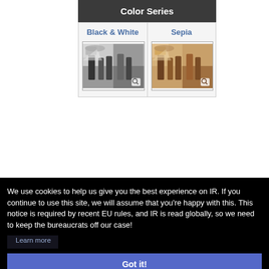Color Series
[Figure (screenshot): Two thumbnail images showing Black & White and Sepia color filter options for a photo of wine bottles and market items, each with a magnifier icon.]
We use cookies to help us give you the best experience on IR. If you continue to use this site, we will assume that you're happy with this. This notice is required by recent EU rules, and IR is read globally, so we need to keep the bureaucrats off our case!
Learn more
Got it!